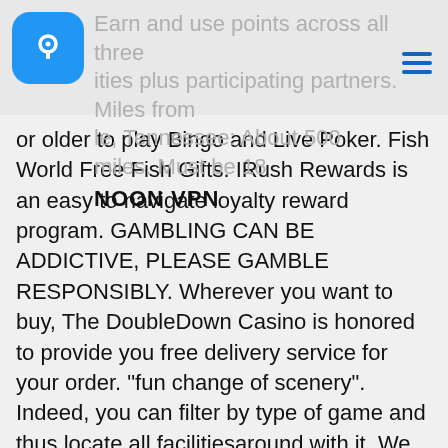Tiramisu is a must try. Piggy Go Free Dice, Coins and Earn and use points across all three activities plus participating partners. Miles from Nashville, Tennessee: About 500 miles. Must be 18
[Figure (logo): Noon VPN app logo - blue rounded square with white key icon, and text NOON VPN below]
or older to play Bingo and Live Poker. Fish World Free Fish Gifts. IRush Rewards is an easy to navigate loyalty reward program. GAMBLING CAN BE ADDICTIVE, PLEASE GAMBLE RESPONSIBLY. Wherever you want to buy, The DoubleDown Casino is honored to provide you free delivery service for your order. “fun change of scenery”. Indeed, you can filter by type of game and thus locate all facilitiesaround with it. We have compiled a list of every land based casino in the United States so that you can easily find the best place to play nearest you, when you want to get out of the house and win big. Directions and Parking. Your pulse starts to pound. As what savings say’s when it’s good to be true, you